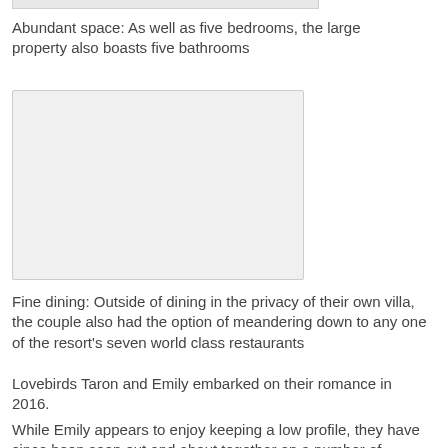[Figure (photo): Partial bottom edge of an image visible at the top of the page (cropped)]
Abundant space: As well as five bedrooms, the large property also boasts five bathrooms
[Figure (photo): Large rectangular image placeholder showing a property or dining area]
Fine dining: Outside of dining in the privacy of their own villa, the couple also had the option of meandering down to any one of the resort's seven world class restaurants
Lovebirds Taron and Emily embarked on their romance in 2016.
While Emily appears to enjoy keeping a low profile, they have since been seen out and about together on a number of occasions, including when she accompanied her beau to